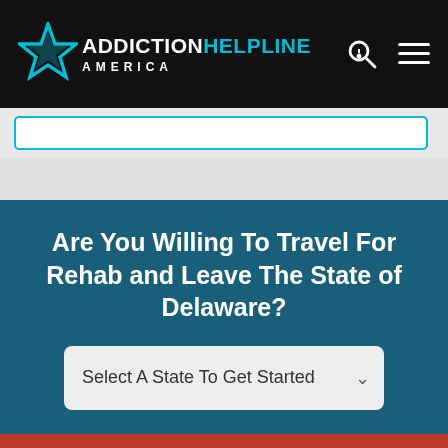[Figure (logo): Addiction Helpline America logo with star icon and teal/white text on black header bar]
Are You Willing To Travel For Rehab and Leave The State of Delaware?
Select A State To Get Started
(888) 557-2033
Speak To A Treatment Center 24/7